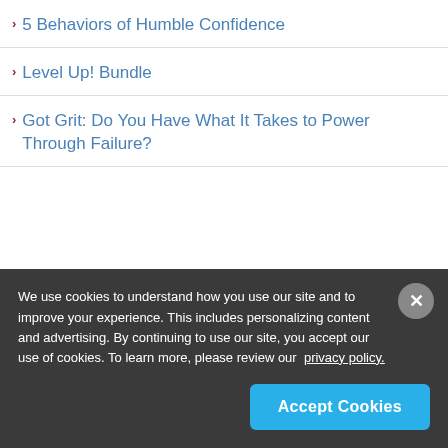5 Behaviors of Humble Confidence
Level Up! Bundle
Got Grit: Do You Have What It Takes to Power Through Failure?
[Figure (other): Purple banner with partial text 'Get your free']
We use cookies to understand how you use our site and to improve your experience. This includes personalizing content and advertising. By continuing to use our site, you accept our use of cookies. To learn more, please review our privacy policy.
Accept Cookies